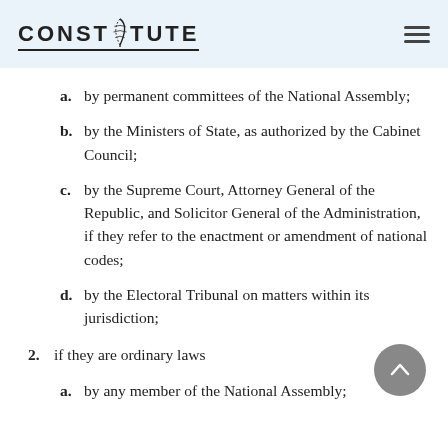CONSTITUTE
a. by permanent committees of the National Assembly;
b. by the Ministers of State, as authorized by the Cabinet Council;
c. by the Supreme Court, Attorney General of the Republic, and Solicitor General of the Administration, if they refer to the enactment or amendment of national codes;
d. by the Electoral Tribunal on matters within its jurisdiction;
2. if they are ordinary laws
a. by any member of the National Assembly;